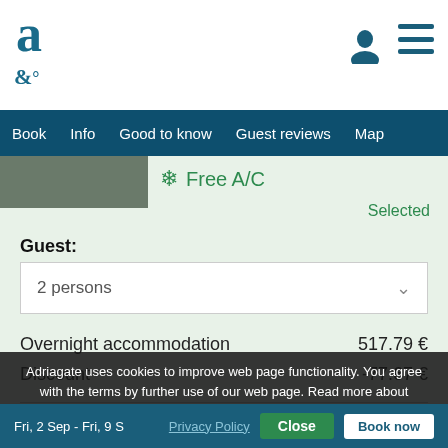a (Adriagate logo)
Book  Info  Good to know  Guest reviews  Map
❄ Free A/C
Selected
Guest:
2 persons
Overnight accommodation  517.79 €
Discount  -77.67 €
TOTAL  440.12€
Remove  517.79 €
Adriagate uses cookies to improve web page functionality. You agree with the terms by further use of our web page. Read more about cookies on:
Fri, 2 Sep - Fri, 9 S...
Privacy Policy
Close
Book now